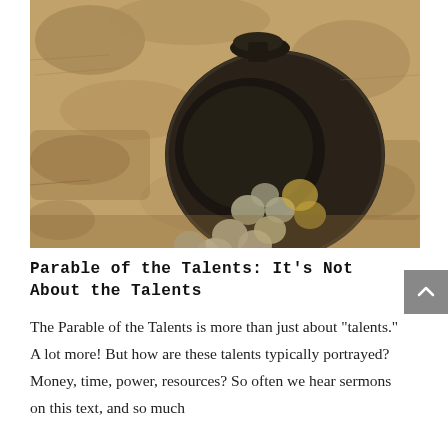[Figure (photo): A dark clay or terracotta pot lying on its side in sandy/rocky soil, with ancient coins spilling out of it. The coins appear silver and gold colored. The background is sandy earth and rubble.]
Parable of the Talents: It's Not About the Talents
The Parable of the Talents is more than just about "talents." A lot more! But how are these talents typically portrayed? Money, time, power, resources? So often we hear sermons on this text, and so much